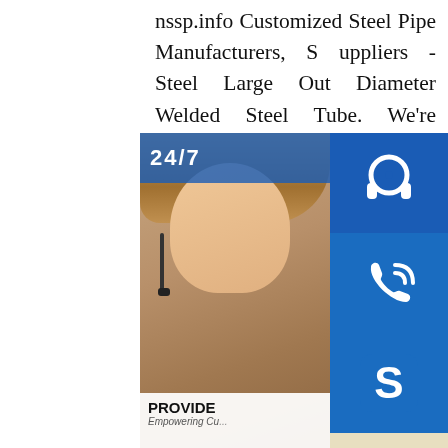nssp.info Customized Steel Pipe Manufacturers, Suppliers - Steel Large Out Diameter Welded Steel Tube. We're known as one of the most professional steel pipe manufacturers and suppliers. Feel free to buy customized steel pipe at competitive price here and get pricelist from our factory. SSAW Steel Pipe/Spiral Steel Pipe. Spiral steel pipe is the raw material of strip coil, through pressure extrusion molding, automatic double-sided submerged arc welding process to ensure steam pipe. Spiral steel pipe will strengthen the unit, the multi-roll rolling, strip rolled open circular gap opening gap, adjust the squeeze roll reduction, the weld gap sp.info LYD Band Carbon Steel Large Diameter SSAW Spiral Pipe TubeASTM A106Gr.B Carbon Steel Seamless Pipe; LYD Band SSAW PIPE Large Diameter steel pipe; hot dipped steel pipe and 038 tube; custom carbon carbon steel sheet
[Figure (infographic): Customer service widget overlay showing a woman wearing a headset, with blue icon boxes for 24/7 support (headphone icon), phone/Skype contact (phone icon), Skype icon, and an 'online live' button. Text includes 'PROVIDE Empowering Cu...' and '24/7' label.]